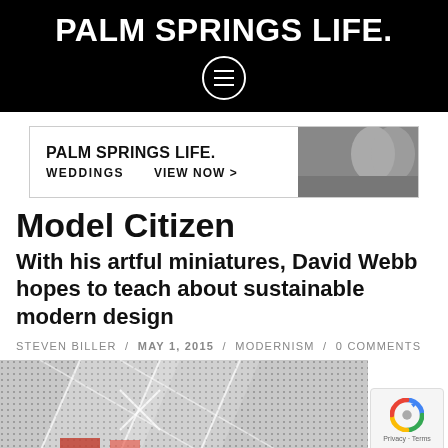PALM SPRINGS LIFE.
[Figure (screenshot): Menu/hamburger icon circle button on black background]
[Figure (screenshot): Advertisement banner: PALM SPRINGS LIFE. WEDDINGS VIEW NOW > with couple kissing photo]
Model Citizen
With his artful miniatures, David Webb hopes to teach about sustainable modern design
STEVEN BILLER / MAY 1, 2015 / MODERNISM / 0 COMMENTS
[Figure (photo): Close-up photo of a geometric dot-textured miniature architectural model with white geometric shapes on dotted gray background, and a red element at bottom]